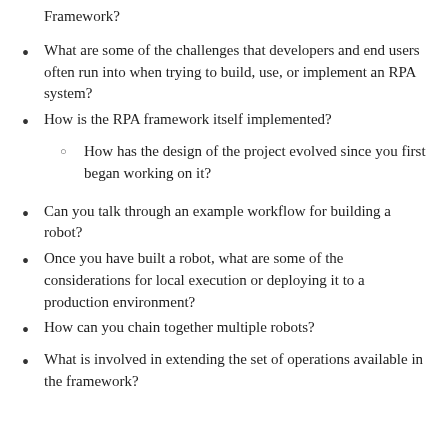Framework?
What are some of the challenges that developers and end users often run into when trying to build, use, or implement an RPA system?
How is the RPA framework itself implemented?
How has the design of the project evolved since you first began working on it?
Can you talk through an example workflow for building a robot?
Once you have built a robot, what are some of the considerations for local execution or deploying it to a production environment?
How can you chain together multiple robots?
What is involved in extending the set of operations available in the framework?